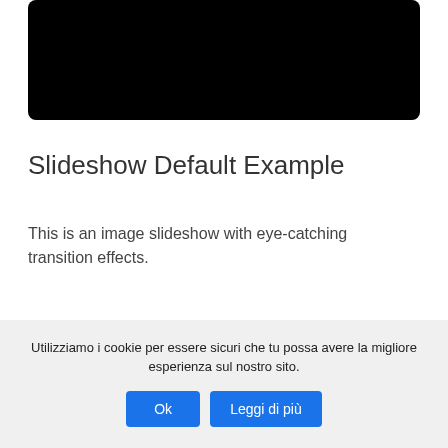[Figure (photo): Black rectangular image area representing a slideshow image placeholder with rounded corners]
Slideshow Default Example
This is an image slideshow with eye-catching transition effects.
Utilizziamo i cookie per essere sicuri che tu possa avere la migliore esperienza sul nostro sito.
Ok | Leggi di più